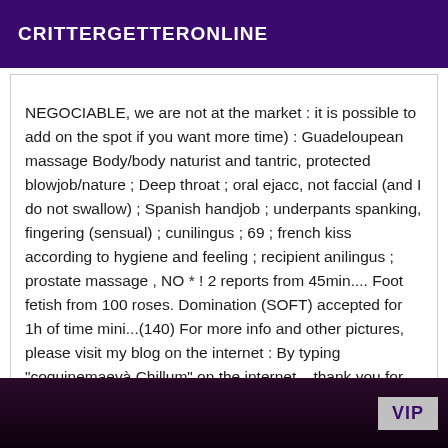CRITTERGETTERONLINE
NEGOCIABLE, we are not at the market : it is possible to add on the spot if you want more time) : Guadeloupean massage Body/body naturist and tantric, protected blowjob/nature ; Deep throat ; oral ejacc, not faccial (and I do not swallow) ; Spanish handjob ; underpants spanking, fingering (sensual) ; cunilingus ; 69 ; french kiss according to hygiene and feeling ; recipient anilingus ; prostate massage , NO * ! 2 reports from 45min.... Foot fetish from 100 roses. Domination (SOFT) accepted for 1h of time mini...(140) For more info and other pictures, please visit my blog on the internet : By typing "coquinemaevà Chillum" on the internet... thank you for not wasting time, we are not children, this is only for serious people ! ps, I don't make any move !!! Sweet kisses. Maeva
[Figure (photo): Dark photo at the bottom of the page with a VIP badge in the lower right corner]